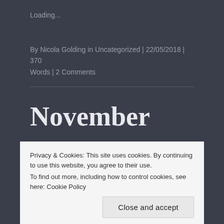Loading...
By Nicola Golding in Uncategorized | 22/05/2018 | 370 Words | 2 Comments
November was indeed crazy!
Privacy & Cookies: This site uses cookies. By continuing to use this website, you agree to their use.
To find out more, including how to control cookies, see here: Cookie Policy
Close and accept
to be an even crazier month than I thought, what